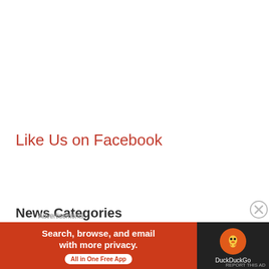Like Us on Facebook
News Categories
[Figure (other): Advertisement banner: DuckDuckGo ad with orange left panel reading 'Search, browse, and email with more privacy. All in One Free App' and dark right panel with DuckDuckGo logo]
Advertisements